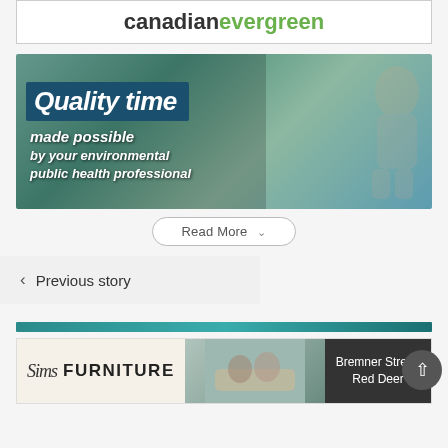[Figure (logo): canadianevergreen logo — 'canadian' in dark grey, 'evergreen' in green]
[Figure (photo): Promotional image showing a child outdoors near a pool chair with overlaid text: 'Quality time made possible by your environmental public health professional']
Read More
‹ Previous story
[Figure (other): Teal horizontal decorative bar]
[Figure (other): Sims Furniture advertisement banner with logo, photo of people on sofa, and text 'Bremner Street, Red Deer']